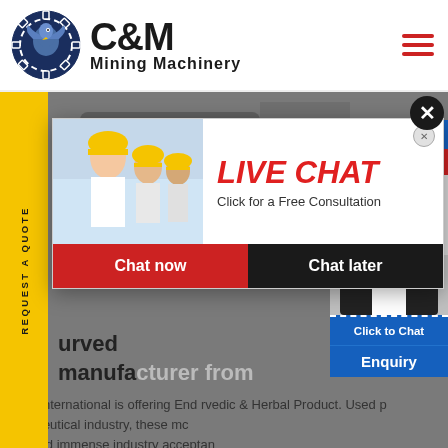[Figure (logo): C&M Mining Machinery logo with eagle in gear circle, dark blue and black]
C&M Mining Machinery
[Figure (photo): Industrial mining machinery equipment background banner image]
REQUEST A QUOTE
[Figure (infographic): Live Chat popup with workers in yellow helmets photo, LIVE CHAT title in red italic, Click for a Free Consultation, Chat now (red button) and Chat later (dark button)]
[Figure (photo): Right side widget showing Hours Online banner, female customer support agent with headset, Click to Chat button, Enquiry bar]
urved manufacturer from
dge International is offering End rvedic & Herbal Product. Used p rmaceutical industry, these mc gained immense industry acceptan carry out the manufacturing proce